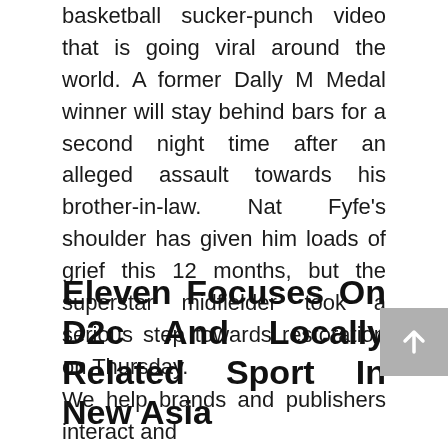basketball sucker-punch video that is going viral around the world. A former Dally M Medal winner will stay behind bars for a second night time after an alleged assault towards his brother-in-law. Nat Fyfe's shoulder has given him loads of grief this 12 months, but the superstar midfielder took a serious step towards restoration on Thursday.
Eleven Focuses On D2c And Locally Related Sport In New Asia
We help brands and publishers interact and